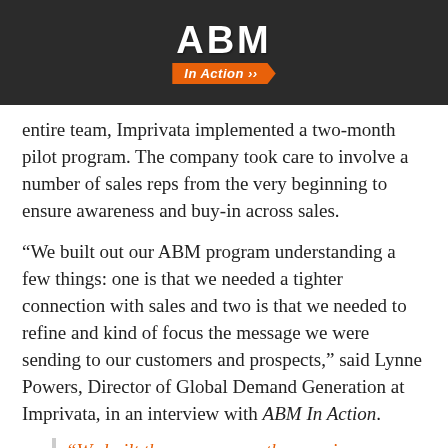[Figure (logo): ABM In Action logo on dark background header bar]
entire team, Imprivata implemented a two-month pilot program. The company took care to involve a number of sales reps from the very beginning to ensure awareness and buy-in across sales.
“We built out our ABM program understanding a few things: one is that we needed a tighter connection with sales and two is that we needed to refine and kind of focus the message we were sending to our customers and prospects,” said Lynne Powers, Director of Global Demand Generation at Imprivata, in an interview with ABM In Action.
“We built the program on the premise